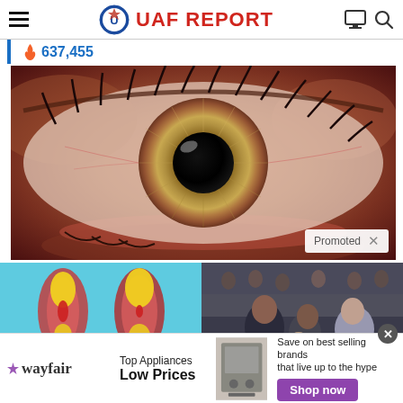UAF REPORT
637,455
[Figure (photo): Extreme close-up macro photograph of a human eye with hazel/green iris and visible eyelashes]
Promoted X
[Figure (illustration): Medical illustration showing two cross-sections of arteries/veins with plaque buildup]
[Figure (photo): Photo of people in formal attire at what appears to be a government or political event]
wayfair Top Appliances Low Prices Save on best selling brands that live up to the hype Shop now